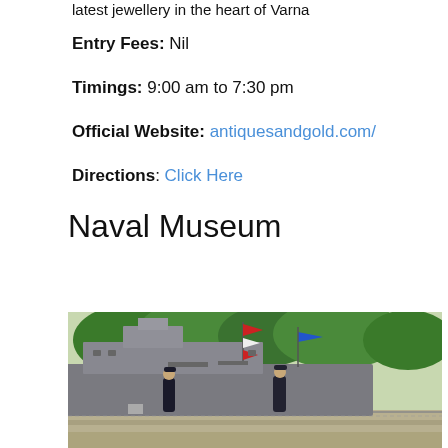latest jewellery in the heart of Varna
Entry Fees: Nil
Timings: 9:00 am to 7:30 pm
Official Website: antiquesandgold.com/
Directions: Click Here
Naval Museum
[Figure (photo): Outdoor photo of a naval vessel/warship docked at a pier, with two naval officers in dark uniforms standing on the walkway in front, colorful flags/pennants visible, green trees in background.]